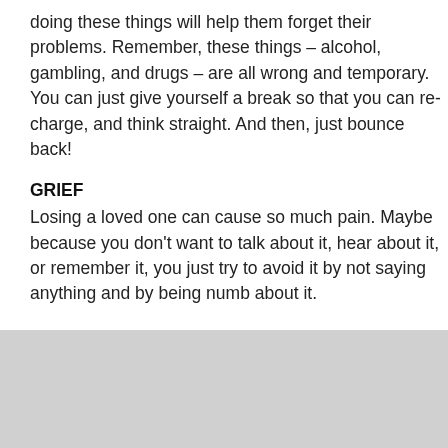doing these things will help them forget their problems. Remember, these things – alcohol, gambling, and drugs – are all wrong and temporary. You can just give yourself a break so that you can re-charge, and think straight. And then, just bounce back!
GRIEF
Losing a loved one can cause so much pain. Maybe because you don't want to talk about it, hear about it, or remember it, you just try to avoid it by not saying anything and by being numb about it.
You will know if a person is grieving when this person's way of being numb or calloused is by giving you a silent